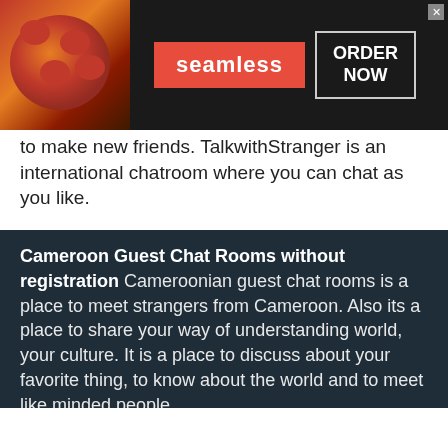[Figure (screenshot): Seamless food delivery advertisement banner with pizza image on left, red Seamless logo badge in center, and ORDER NOW box on right, dark background]
to make new friends. TalkwithStranger is an international chatroom where you can chat as you like.
Cameroon Guest Chat Rooms without registration Cameroonian guest chat rooms is a place to meet strangers from Cameroon. Also its a place to share your way of understanding world, your culture. It is a place to discuss about your favorite thing, to know about the world and to meet like minded people
[Figure (screenshot): Two bottom advertisement items: left shows SUV car with 'Shop New and Used Car Deals Near You' by Car Deals Near You; right shows beach/vacation photo with 'Top 20 Perfectly-Time Photos You Will Ever See!' by AllyNews]